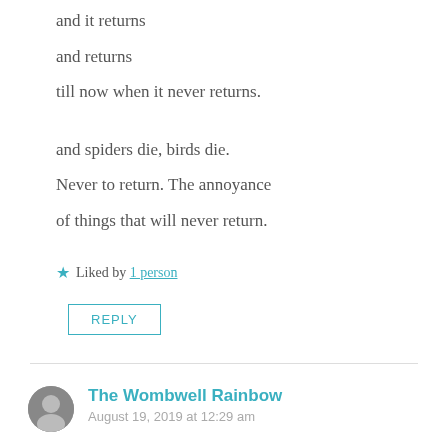and it returns
and returns
till now when it never returns.
and spiders die, birds die.
Never to return. The annoyance
of things that will never return.
★ Liked by 1 person
REPLY
The Wombwell Rainbow
August 19, 2019 at 12:29 am